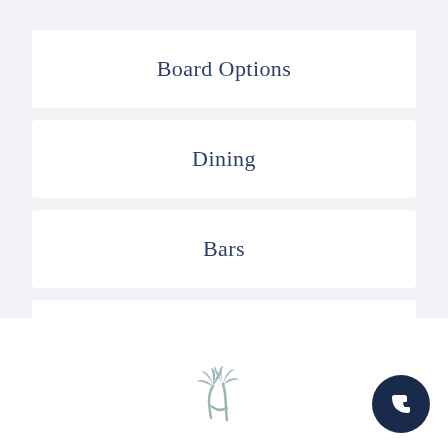Board Options
Dining
Bars
Location & Map
[Figure (illustration): Palm tree / hammock logo icon in muted teal/gray color]
[Figure (illustration): Dark navy circular phone/call button icon]